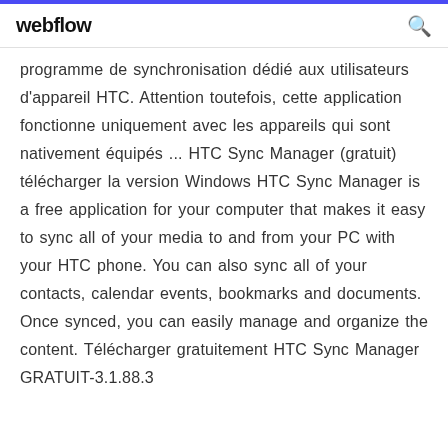webflow
programme de synchronisation dédié aux utilisateurs d'appareil HTC. Attention toutefois, cette application fonctionne uniquement avec les appareils qui sont nativement équipés ... HTC Sync Manager (gratuit) télécharger la version Windows HTC Sync Manager is a free application for your computer that makes it easy to sync all of your media to and from your PC with your HTC phone. You can also sync all of your contacts, calendar events, bookmarks and documents. Once synced, you can easily manage and organize the content. Télécharger gratuitement HTC Sync Manager GRATUIT-3.1.88.3